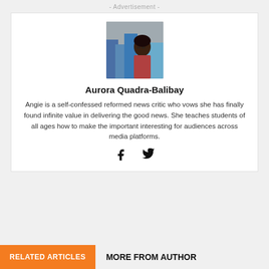- Advertisement -
[Figure (photo): Author photo of Aurora Quadra-Balibay, a woman with glasses standing in front of a city skyline]
Aurora Quadra-Balibay
Angie is a self-confessed reformed news critic who vows she has finally found infinite value in delivering the good news. She teaches students of all ages how to make the important interesting for audiences across media platforms.
[Figure (infographic): Social media icons: Facebook and Twitter]
RELATED ARTICLES
MORE FROM AUTHOR